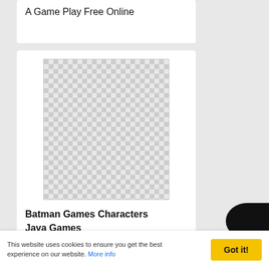A Game Play Free Online
[Figure (illustration): Checkerboard pattern placeholder image (transparent/empty image placeholder with grey and white squares)]
Batman Games Characters Java Games
This website uses cookies to ensure you get the best experience on our website. More info